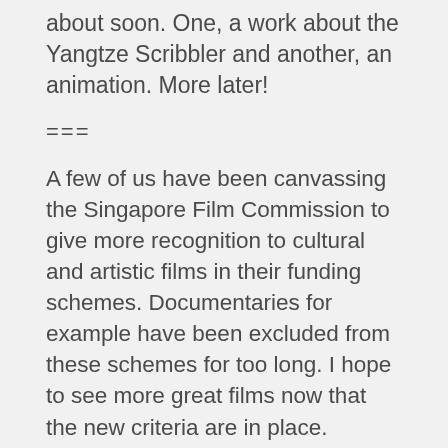about soon. One, a work about the Yangtze Scribbler and another, an animation. More later!
===
A few of us have been canvassing the Singapore Film Commission to give more recognition to cultural and artistic films in their funding schemes. Documentaries for example have been excluded from these schemes for too long. I hope to see more great films now that the new criteria are in place.
Posted in: News